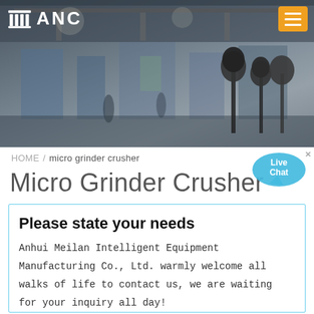[Figure (photo): Header banner showing a factory/industrial interior with microphones in the foreground, dark tones. ANC logo top left, hamburger menu button top right in orange.]
HOME / micro grinder crusher
Micro Grinder Crusher
Please state your needs
Anhui Meilan Intelligent Equipment Manufacturing Co., Ltd. warmly welcome all walks of life to contact us, we are waiting for your inquiry all day!
Name:* Such as: petter